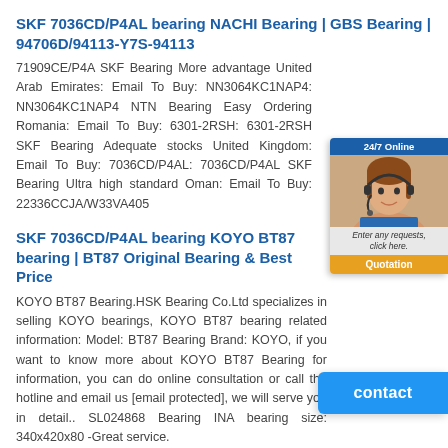SKF 7036CD/P4AL bearing NACHI Bearing | GBS Bearing | 94706D/94113-Y7S-94113
71909CE/P4A SKF Bearing More advantage United Arab Emirates: Email To Buy: NN3064KC1NAP4: NN3064KC1NAP4 NTN Bearing Easy Ordering Romania: Email To Buy: 6301-2RSH: 6301-2RSH SKF Bearing Adequate stocks United Kingdom: Email To Buy: 7036CD/P4AL: 7036CD/P4AL SKF Bearing Ultra high standard Oman: Email To Buy: 22336CCJA/W33VA405
SKF 7036CD/P4AL bearing KOYO BT87 bearing | BT87 Original Bearing & Best Price
KOYO BT87 Bearing.HSK Bearing Co.Ltd specializes in selling KOYO bearings, KOYO BT87 bearing related information: Model: BT87 Bearing Brand: KOYO, if you want to know more about KOYO BT87 Bearing for information, you can do online consultation or call the hotline and email us [email protected], we will serve you in detail.. SL024868 Bearing INA bearing size: 340x420x80 -Great service.
SKF 7036CD/P4AL bearing NKI12/16/INA bearing Corporation in Zagreb - CHA Bearing
7018CB/P4AL. SKF 7036CD/P4AH1. NTN NK10X110X96. KO... News. SKF 6330 bearing, Deep groove ball bearings, single row, 6330 bearing, Size: 150x320x65. SKF 6330 are used in a wide variety of small and medium-sized electric motors and generators...